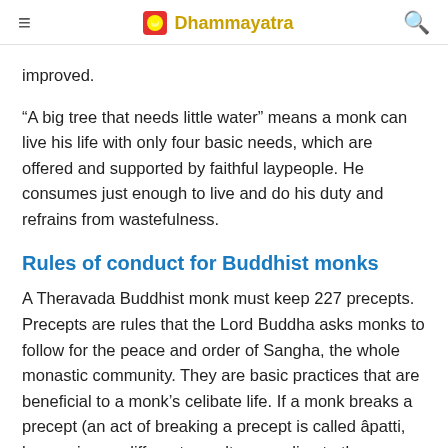≡  Dhammayatra  🔍
improved.
“A big tree that needs little water” means a monk can live his life with only four basic needs, which are offered and supported by faithful laypeople. He consumes just enough to live and do his duty and refrains from wastefulness.
Rules of conduct for Buddhist monks
A Theravada Buddhist monk must keep 227 precepts. Precepts are rules that the Lord Buddha asks monks to follow for the peace and order of Sangha, the whole monastic community. They are basic practices that are beneficial to a monk’s celibate life. If a monk breaks a precept (an act of breaking a precept is called âpatti, he receives a different penalty according to the seriousness of